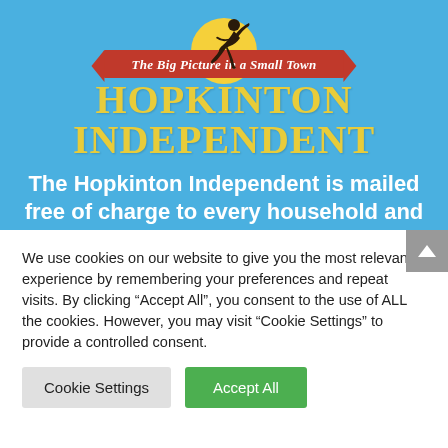[Figure (logo): Hopkinton Independent newspaper logo with blue background, yellow sun circle, runner silhouette, red ribbon banner reading 'The Big Picture in a Small Town', and large yellow text 'HOPKINTON INDEPENDENT']
The Hopkinton Independent is mailed free of charge to every household and business in Hopkinton. 8,400 circulation.
We use cookies on our website to give you the most relevant experience by remembering your preferences and repeat visits. By clicking “Accept All”, you consent to the use of ALL the cookies. However, you may visit "Cookie Settings" to provide a controlled consent.